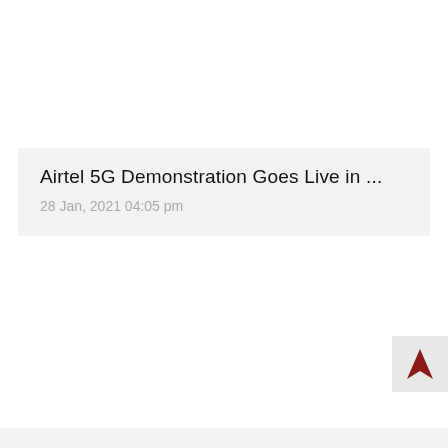Airtel 5G Demonstration Goes Live in ...
28 Jan, 2021 04:05 pm
[Figure (other): Dark red upward-pointing arrow navigation button on light grey background, positioned bottom right]